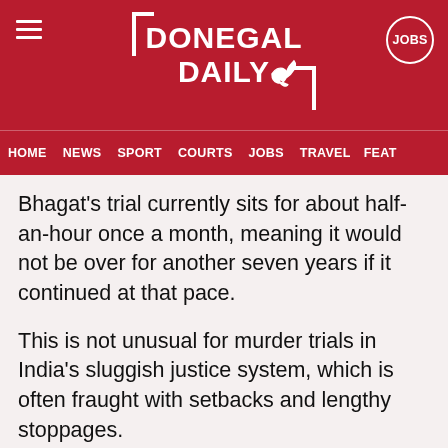DONEGAL DAILY
HOME  NEWS  SPORT  COURTS  JOBS  TRAVEL  FEAT…
Bhagat's trial currently sits for about half-an-hour once a month, meaning it would not be over for another seven years if it continued at that pace.
This is not unusual for murder trials in India's sluggish justice system, which is often fraught with setbacks and lengthy stoppages.
“I’ve been told now it will be the first case in this new court, which will have a woman judge and a proper trial will finally be held,”